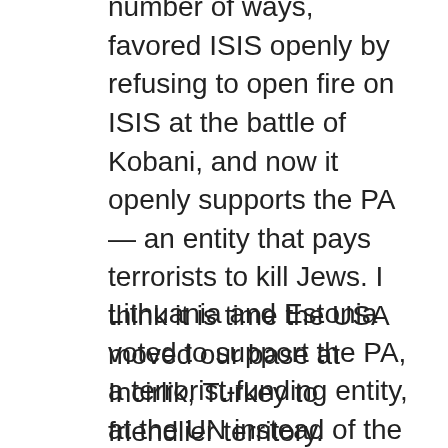number of ways, favored ISIS openly by refusing to open fire on ISIS at the battle of Kobani, and now it openly supports the PA — an entity that pays terrorists to kill Jews. I think it is time the USA moved our base at Incirlik, Turkey to friendlier territory. Yemen desperately needs American humanitarian aid. Given its action to lead the attack vs. the USA at the UN, the USA should tell Yemen to get help from the Palestinians instead.
Lithuania and Estonia voted to support the PA, a terrorist-funding entity, at the UN instead of the US even as they plead to the USA to protect them vs.